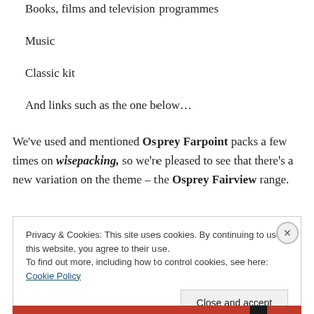Books, films and television programmes
Music
Classic kit
And links such as the one below…
We've used and mentioned Osprey Farpoint packs a few times on wisepacking, so we're pleased to see that there's a new variation on the theme – the Osprey Fairview range.
Privacy & Cookies: This site uses cookies. By continuing to use this website, you agree to their use.
To find out more, including how to control cookies, see here: Cookie Policy